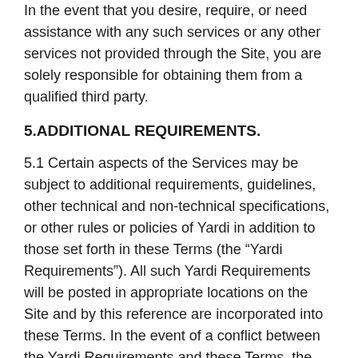In the event that you desire, require, or need assistance with any such services or any other services not provided through the Site, you are solely responsible for obtaining them from a qualified third party.
5.ADDITIONAL REQUIREMENTS.
5.1 Certain aspects of the Services may be subject to additional requirements, guidelines, other technical and non-technical specifications, or other rules or policies of Yardi in addition to those set forth in these Terms (the “Yardi Requirements”). All such Yardi Requirements will be posted in appropriate locations on the Site and by this reference are incorporated into these Terms. In the event of a conflict between the Yardi Requirements and these Terms, the Yardi Requirements shall take precedence.